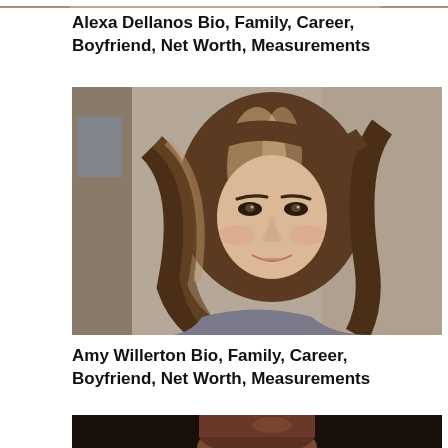[Figure (photo): Partial top strip image cropped at top of page]
Alexa Dellanos Bio, Family, Career, Boyfriend, Net Worth, Measurements
[Figure (photo): Portrait photo of Amy Willerton, a young woman with long brown/blonde highlighted hair, smiling, against a decorative stone/tile background]
Amy Willerton Bio, Family, Career, Boyfriend, Net Worth, Measurements
[Figure (photo): Partial photo at bottom of page showing top of a person's head with reddish-brown hair against a dark background]